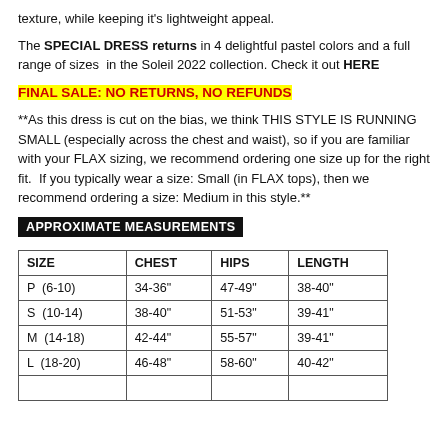texture, while keeping it's lightweight appeal.
The SPECIAL DRESS returns in 4 delightful pastel colors and a full range of sizes in the Soleil 2022 collection. Check it out HERE
FINAL SALE: NO RETURNS, NO REFUNDS
**As this dress is cut on the bias, we think THIS STYLE IS RUNNING SMALL (especially across the chest and waist), so if you are familiar with your FLAX sizing, we recommend ordering one size up for the right fit. If you typically wear a size: Small (in FLAX tops), then we recommend ordering a size: Medium in this style.**
APPROXIMATE MEASUREMENTS
| SIZE | CHEST | HIPS | LENGTH |
| --- | --- | --- | --- |
| P  (6-10) | 34-36" | 47-49" | 38-40" |
| S  (10-14) | 38-40" | 51-53" | 39-41" |
| M  (14-18) | 42-44" | 55-57" | 39-41" |
| L  (18-20) | 46-48" | 58-60" | 40-42" |